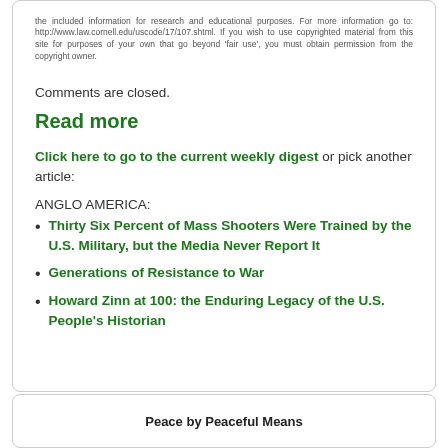the included information for research and educational purposes. For more information go to: http://www.law.cornell.edu/uscode/17/107.shtml. If you wish to use copyrighted material from this site for purposes of your own that go beyond 'fair use', you must obtain permission from the copyright owner.
Comments are closed.
Read more
Click here to go to the current weekly digest or pick another article:
ANGLO AMERICA:
Thirty Six Percent of Mass Shooters Were Trained by the U.S. Military, but the Media Never Report It
Generations of Resistance to War
Howard Zinn at 100: the Enduring Legacy of the U.S. People's Historian
Peace by Peaceful Means